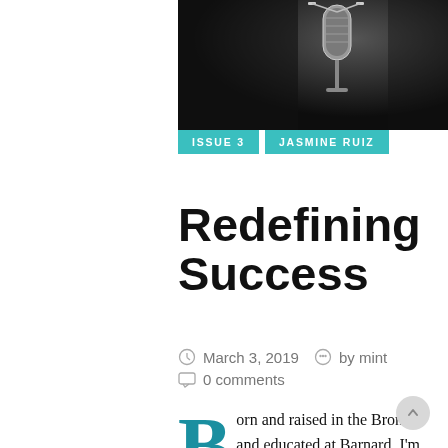[Figure (photo): Dark background photo of a studio microphone with metallic sheen against a blurred dark background]
ISSUE 3   JASMINE RUIZ
Redefining Success
March 3, 2019   by mint
0 comments
Born and raised in the Bronx and educated at Barnard, I'm a merger of two radically different communities. I both defy and feed